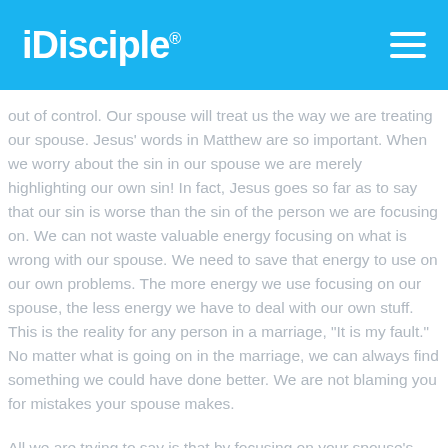iDisciple
out of control. Our spouse will treat us the way we are treating our spouse. Jesus' words in Matthew are so important. When we worry about the sin in our spouse we are merely highlighting our own sin! In fact, Jesus goes so far as to say that our sin is worse than the sin of the person we are focusing on. We can not waste valuable energy focusing on what is wrong with our spouse. We need to save that energy to use on our own problems. The more energy we use focusing on our spouse, the less energy we have to deal with our own stuff. This is the reality for any person in a marriage, "It is my fault." No matter what is going on in the marriage, we can always find something we could have done better. We are not blaming you for mistakes your spouse makes.
All we are trying to say is that by focusing on your spouse's mistakes, you are making the marriage less happy and making yourself more vulnerable to the consequences of blaming.